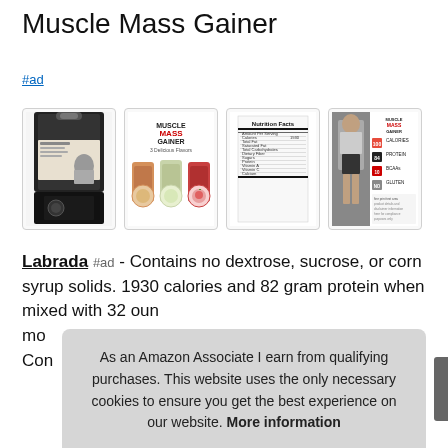Muscle Mass Gainer
#ad
[Figure (photo): Four product images of Muscle Mass Gainer: 1) large bag back view, 2) three flavor pouches, 3) nutrition facts panel, 4) athlete with product stats]
Labrada #ad - Contains no dextrose, sucrose, or corn syrup solids. 1930 calories and 82 gram protein when mixed with 32 ounces of whole milk. Contains no artificial colors. Contains no artificial flavors. Con...
As an Amazon Associate I earn from qualifying purchases. This website uses the only necessary cookies to ensure you get the best experience on our website. More information